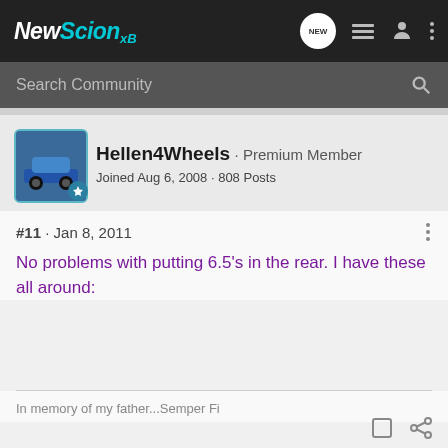NewScion xB
Search Community
Hellen4Wheels · Premium Member
Joined Aug 6, 2008 · 808 Posts
#11 · Jan 8, 2011
No problems with putting 6.5's in the rear. I have these all around:
In memory of my father...Semper Fi